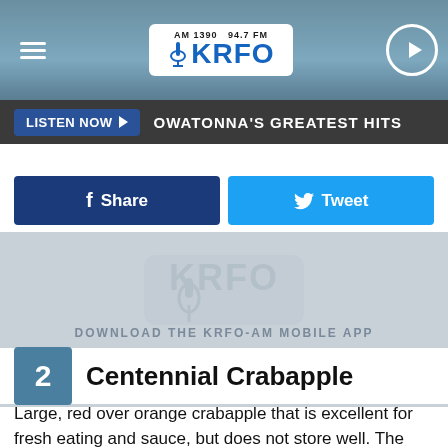[Figure (logo): KRFO AM 1390 94.7 FM radio station header with logo, hamburger menu, and play button]
LISTEN NOW ▶  OWATONNA'S GREATEST HITS
[Figure (infographic): Facebook Share and Twitter Tweet social sharing buttons]
[Figure (screenshot): KRFO watermark logo and DOWNLOAD THE KRFO-AM MOBILE APP / GET OUR FREE MOBILE APP banner]
2  Centennial Crabapple
Large, red over orange crabapple that is excellent for fresh eating and sauce, but does not store well. The tree is very hardy. It was introduced in 1857.